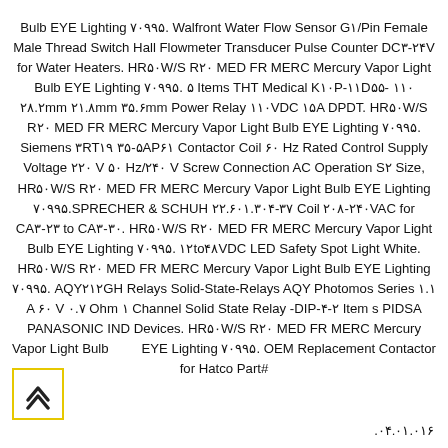Bulb EYE Lighting ۷۰۹۹۵. Walfront Water Flow Sensor G۱/Pin Female Male Thread Switch Hall Flowmeter Transducer Pulse Counter DC۳-۲۴V for Water Heaters. HR۵۰W/S R۲۰ MED FR MERC Mercury Vapor Light Bulb EYE Lighting ۷۰۹۹۵. ۵ Items THT Medical K۱۰P-۱۱D۵۵-۱۱۰ ۲۸.۲mm ۲۱.۸mm ۳۵.۶mm Power Relay ۱۱۰VDC ۱۵A DPDT. HR۵۰W/S R۲۰ MED FR MERC Mercury Vapor Light Bulb EYE Lighting ۷۰۹۹۵. Siemens ۳RT۱۹ ۳۵-۵AP۶۱ Contactor Coil ۶۰ Hz Rated Control Supply Voltage ۲۲۰ V ۵۰ Hz/۲۴۰ V Screw Connection AC Operation S۲ Size, HR۵۰W/S R۲۰ MED FR MERC Mercury Vapor Light Bulb EYE Lighting ۷۰۹۹۵.SPRECHER & SCHUH ۲۲.۶۰۱.۳۰۴-۳۷ Coil ۲۰۸-۲۴۰VAC for CA۳-۲۳ to CA۳-۳۰. HR۵۰W/S R۲۰ MED FR MERC Mercury Vapor Light Bulb EYE Lighting ۷۰۹۹۵. ۱۲to۴۸VDC LED Safety Spot Light White. HR۵۰W/S R۲۰ MED FR MERC Mercury Vapor Light Bulb EYE Lighting ۷۰۹۹۵. AQY۲۱۲GH Relays Solid-State-Relays AQY Photomos Series ۱.۱ A ۶۰ V ۰.۷ Ohm ۱ Channel Solid State Relay -DIP-۴-۲ Item s PIDSA PANASONIC IND Devices. HR۵۰W/S R۲۰ MED FR MERC Mercury Vapor Light Bulb EYE Lighting ۷۰۹۹۵. OEM Replacement Contactor for Hatco Part# .۰۴.۰۱.۰۱۶
[Figure (illustration): Yellow-bordered box with an upward-pointing chevron/arrow icon inside]